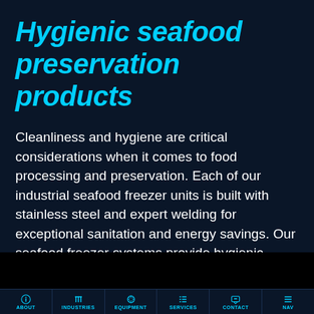Hygienic seafood preservation products
Cleanliness and hygiene are critical considerations when it comes to food processing and preservation. Each of our industrial seafood freezer units is built with stainless steel and expert welding for exceptional sanitation and energy savings. Our seafood freezer systems provide hygienic freezing and chilling.
ABOUT | INDUSTRIES | EQUIPMENT | SERVICES | CONTACT | NAV